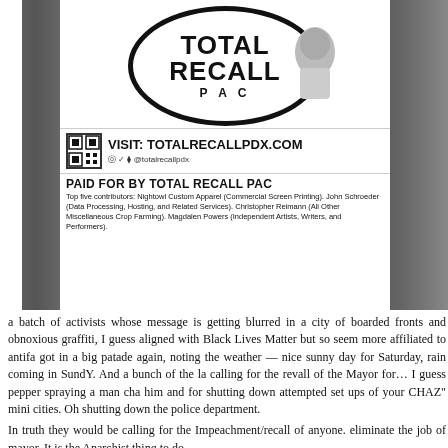[Figure (photo): A photograph of a political flyer/poster attached to a tree. The poster reads 'TOTAL RECALL PAC' with a circular logo, a QR code, 'VISIT: TOTALRECALLPDX.COM', 'PAID FOR BY TOTAL RECALL PAC', and small print listing top five contributors.]
a batch of activists whose message is getting blurred in a city of boarded fronts and obnoxious graffiti, I guess aligned with Black Lives Matter but so seem more affiliated to antifa got in a big patade again, noting the weather — nice sunny day for Saturday, rain coming in SundY. And a bunch of the la calling for the revall of the Mayor for… I guess pepper spraying a man cha him and for shutting down attempted set ups of your CHAZ" mini cities. Oh shutting down the police department.
In truth they would be calling for the Impeachment/recall of anyone. eliminate the job of mayor. It is the Anarchist thing to do.